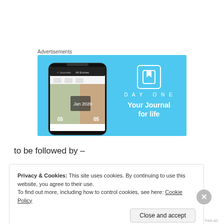Advertisements
[Figure (screenshot): DayOne app advertisement banner with light blue background, showing a smartphone screenshot of the DayOne journal app on the left, and on the right the DayOne logo (bookmark icon) with text 'DAY ONE' and tagline 'Your Journal for life']
to be followed by –
Privacy & Cookies: This site uses cookies. By continuing to use this website, you agree to their use.
To find out more, including how to control cookies, see here: Cookie Policy
Close and accept